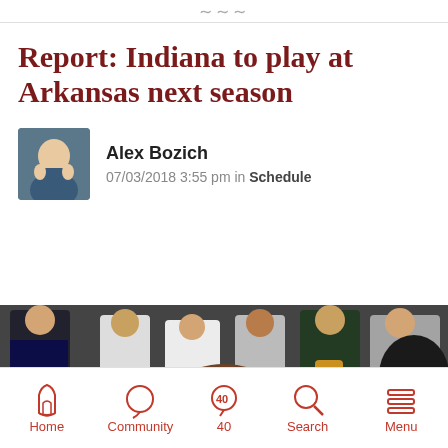∼∼∼
Report: Indiana to play at Arkansas next season
Alex Bozich
07/03/2018 3:55 pm in Schedule
[Figure (photo): A basketball coach in a dark suit and red tie leaning on a red padded surface, watching game play, with crowd members visible in background]
Home  Community  40  Search  Menu